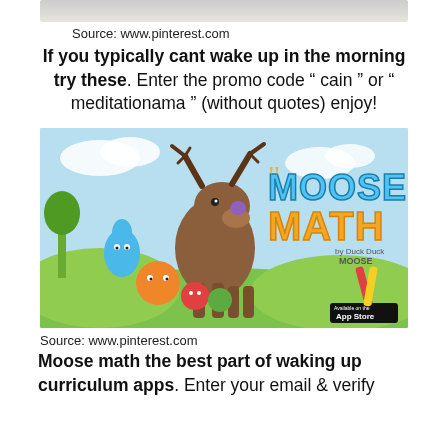[Figure (photo): Partial top strip of an image (cropped, light/gray tones)]
Source: www.pinterest.com
If you typically cant wake up in the morning try these. Enter the promo code " cain " or " meditationama " (without quotes) enjoy!
[Figure (illustration): Moose Math app promotional image featuring cartoon moose and colorful animal characters on a green meadow, with 'Moose Math by Duck Duck Moose' title text and App Store badge]
Source: www.pinterest.com
Moose math the best part of waking up curriculum apps. Enter your email & verify